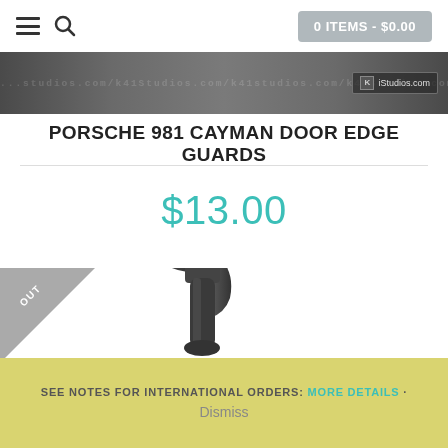0 ITEMS - $0.00
[Figure (photo): Dark gray/silver banner image with repeated watermark text '...studios.com/k4i...' and a small logo badge reading 'K4iStudios.com' on the right side]
PORSCHE 981 CAYMAN DOOR EDGE GUARDS
$13.00
[Figure (photo): Product photo showing a dark metallic spray bottle trigger/nozzle mechanism against a white background. An 'OUT' badge triangle is shown in the top-left corner indicating out of stock.]
SEE NOTES FOR INTERNATIONAL ORDERS: MORE DETAILS · Dismiss